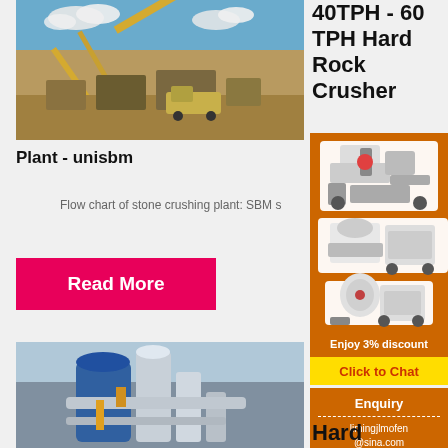[Figure (photo): Aerial view of a stone crushing plant with conveyor belts and heavy machinery at a quarry site under blue sky]
Plant - unisbm
Flow chart of stone crushing plant: SBM s
Read More
[Figure (photo): Industrial milling equipment with large cylindrical tanks and pipes at a hard rock processing facility]
40TPH - 60 TPH Hard Rock Crusher
[Figure (photo): Advertisement showing mining and crushing equipment including crushers and mobile units]
Enjoy 3% discount
Click to Chat
Enquiry
limingjlmofen@sina.com
Hard Rock